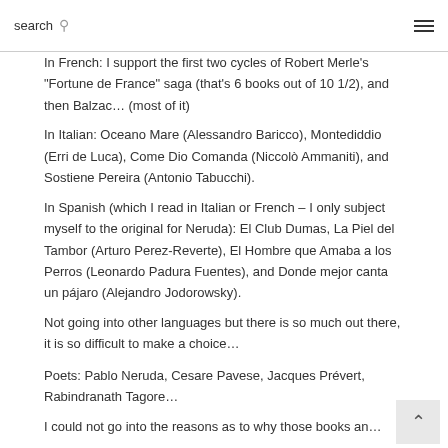search
In French: I support the first two cycles of Robert Merle’s “Fortune de France” saga (that’s 6 books out of 10 1/2), and then Balzac… (most of it)
In Italian: Oceano Mare (Alessandro Baricco), Montediddio (Erri de Luca), Come Dio Comanda (Niccolò Ammaniti), and Sostiene Pereira (Antonio Tabucchi).
In Spanish (which I read in Italian or French – I only subject myself to the original for Neruda): El Club Dumas, La Piel del Tambor (Arturo Perez-Reverte), El Hombre que Amaba a los Perros (Leonardo Padura Fuentes), and Donde mejor canta un pájaro (Alejandro Jodorowsky).
Not going into other languages but there is so much out there, it is so difficult to make a choice…
Poets: Pablo Neruda, Cesare Pavese, Jacques Prévert, Rabindranath Tagore…
I could not go into the reasons as to why those books an…